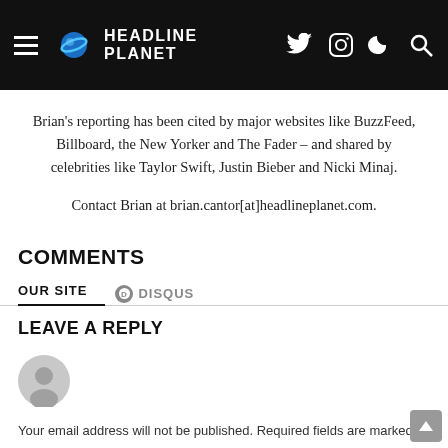HEADLINE PLANET
Brian's reporting has been cited by major websites like BuzzFeed, Billboard, the New Yorker and The Fader – and shared by celebrities like Taylor Swift, Justin Bieber and Nicki Minaj.
Contact Brian at brian.cantor[at]headlineplanet.com.
COMMENTS
OUR SITE   DISQUS
LEAVE A REPLY
Your email address will not be published. Required fields are marked *